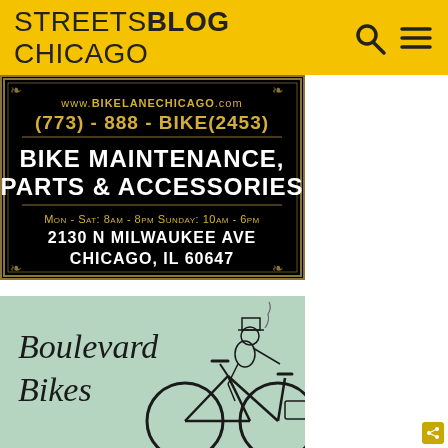STREETSBLOG CHICAGO
[Figure (advertisement): Bike Lane Chicago advertisement on black background with gold border. Text: www.BIKELANECHICAGO.com, (773) - 888 - BIKE(2453), BIKE MAINTENANCE, PARTS & ACCESSORIES, MON - SAT: 8AM - 8PM  SUNDAY: 10AM - 6PM, 2130 N MILWAUKEE AVE, CHICAGO, IL 60647]
[Figure (advertisement): Boulevard Bikes advertisement with mint/sage green background featuring illustrated retro cyclist character in top hat riding a bicycle with a basket. Text reads: Boulevard Bikes]